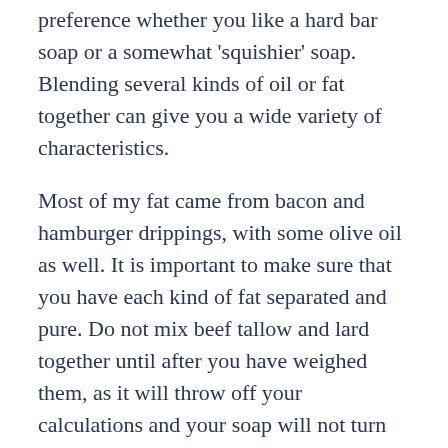preference whether you like a hard bar soap or a somewhat 'squishier' soap. Blending several kinds of oil or fat together can give you a wide variety of characteristics.
Most of my fat came from bacon and hamburger drippings, with some olive oil as well. It is important to make sure that you have each kind of fat separated and pure. Do not mix beef tallow and lard together until after you have weighed them, as it will throw off your calculations and your soap will not turn out right. Then you must render and clean the fat. Rendering is the process of melting the fat to separate it from water or bits of meat. In my case, I just fried my bacon and poured off the extra grease into a jar.
To clean the fat, you can either boil it, filter it, or both. I first filtered everything